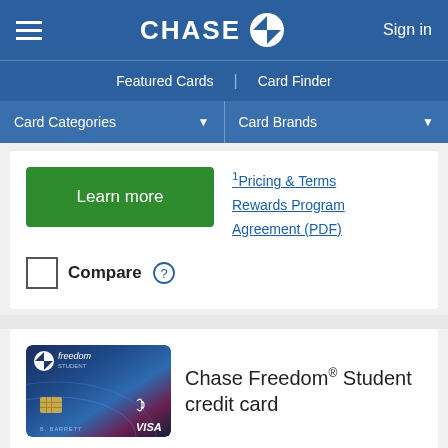Chase — Sign in
Featured Cards | Card Finder
Card Categories ▾   Card Brands ▾
Learn more
1 Pricing & Terms
Rewards Program Agreement (PDF)
Compare (?)
Chase Freedom® Student credit card